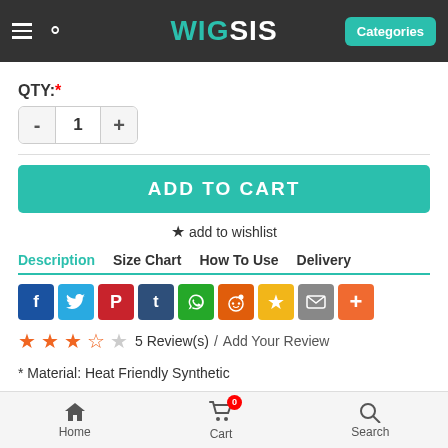WIGSIS — Categories
QTY: *
- 1 +
ADD TO CART
★ add to wishlist
Description  Size Chart  How To Use  Delivery
[Figure (other): Social sharing icons: Facebook, Twitter, Pinterest, Tumblr, WhatsApp, Reddit, Bookmark, Email, Plus]
5 Review(s) / Add Your Review
* Material: Heat Friendly Synthetic
* Shown Colour: 29
* Cap Construction: Capless
Home  Cart 0  Search